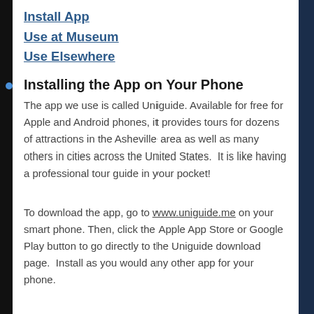Install App
Use at Museum
Use Elsewhere
Installing the App on Your Phone
The app we use is called Uniguide. Available for free for Apple and Android phones, it provides tours for dozens of attractions in the Asheville area as well as many others in cities across the United States. It is like having a professional tour guide in your pocket!
To download the app, go to www.uniguide.me on your smart phone. Then, click the Apple App Store or Google Play button to go directly to the Uniguide download page. Install as you would any other app for your phone.
When you run the app, allow Uniguide to access your location.